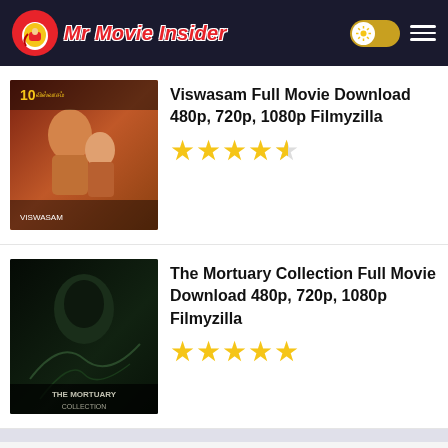Mr Movie Insider
[Figure (screenshot): Movie listing: Viswasam Full Movie Download 480p, 720p, 1080p Filmyzilla with 4.5 star rating]
[Figure (screenshot): Movie listing: The Mortuary Collection Full Movie Download 480p, 720p, 1080p Filmyzilla with 5 star rating]
INTERESTING FOR YOU
[Figure (photo): Advertisement photo showing people (appears to be Meghan Markle, baby Archie, and Prince Harry) with Join for New Movies Telegram button overlay]